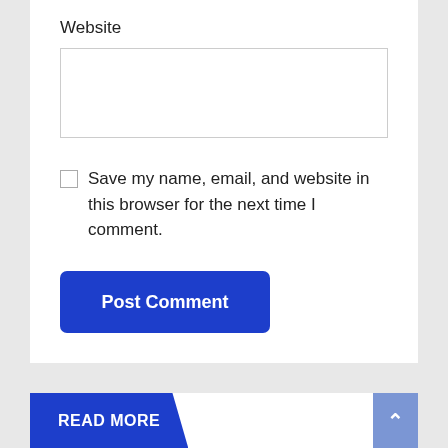Website
[Figure (other): Empty text input box for website URL]
[Figure (other): Unchecked checkbox]
Save my name, email, and website in this browser for the next time I comment.
Post Comment
READ MORE